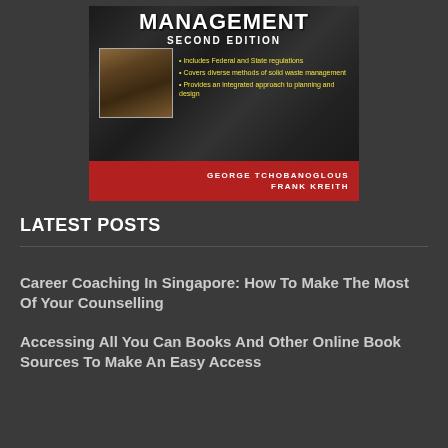[Figure (illustration): Book cover for 'Solid Waste Management Second Edition' by George Tchobanoglous and Frank Kreith. Dark rocky/waste background with an inset image of compacted waste. Yellow bullet points listing features. Red bar at bottom with authors' names.]
LATEST POSTS
Career Coaching In Singapore: How To Make The Most Of Your Counselling
Accessing All You Can Books And Other Online Book Sources To Make An Easy Access